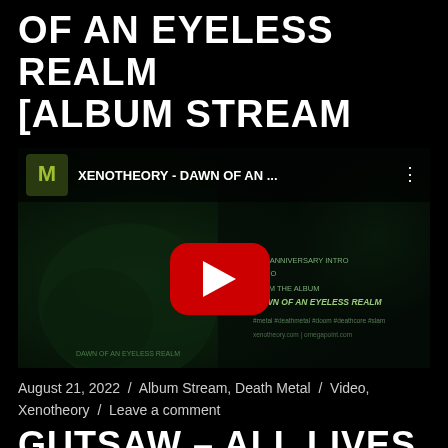OF AN EYELESS REALM [ALBUM STREAM
[Figure (screenshot): YouTube video embed thumbnail showing XENOTHEORY - DAWN OF AN ... with a dark album art background featuring illustrated characters, a red YouTube play button in the center, and track listing on the right side including 'Intro' and 'Dawn of an Eyeless Realm']
August 21, 2022 / Album Stream, Death Metal / Video, Xenotheory / Leave a comment
GUTSAW – ALL LIVES